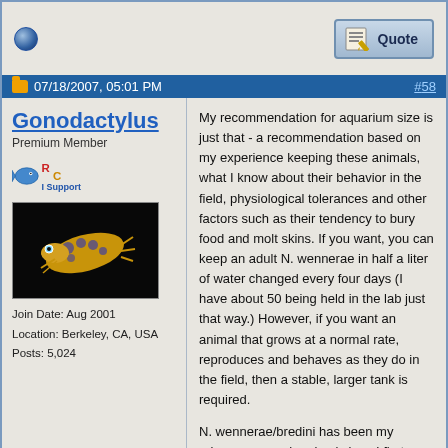[Figure (screenshot): Top row of a forum post with a blue circle icon on the left and a Quote button on the right]
07/18/2007, 05:01 PM  #58
Gonodactylus
Premium Member
Join Date: Aug 2001
Location: Berkeley, CA, USA
Posts: 5,024
[Figure (photo): Photo of a colorful mantis shrimp (Neogonodactylus wennerae) on a black background]
My recommendation for aquarium size is just that - a recommendation based on my experience keeping these animals, what I know about their behavior in the field, physiological tolerances and other factors such as their tendency to bury food and molt skins. If you want, you can keep an adult N. wennerae in half a liter of water changed every four days (I have about 50 being held in the lab just that way.) However, if you want an animal that grows at a normal rate, reproduces and behaves as they do in the field, then a stable, larger tank is required.

N. wennerae/bredini has been my primary research animal since I first worked on it in Bermuda 40 years ago. I have collected probably close to 100,000 of them, spent thousands of hours watching their behavior and have hundreds